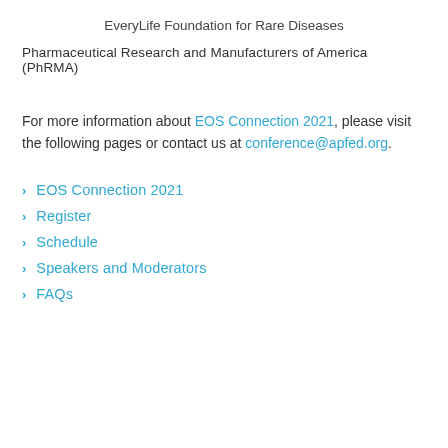EveryLife Foundation for Rare Diseases
Pharmaceutical Research and Manufacturers of America (PhRMA)
For more information about EOS Connection 2021, please visit the following pages or contact us at conference@apfed.org.
EOS Connection 2021
Register
Schedule
Speakers and Moderators
FAQs